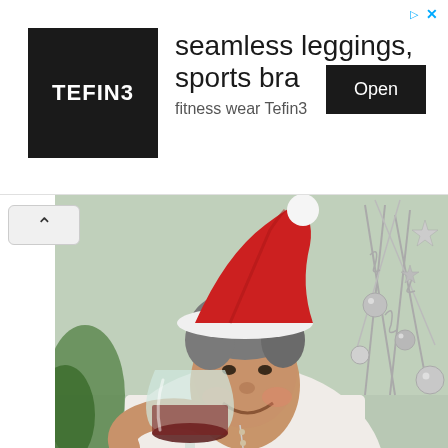[Figure (other): Advertisement banner for Tefin3 fitness wear. Black logo box with 'TEFIN3' text on left, headline 'seamless leggings, sports bra' in center, 'fitness wear Tefin3' subtext, and black 'Open' button on right. Small blue ad attribution triangle and X icons in top-right corner.]
[Figure (photo): Photo of a middle-aged man wearing a white shirt and a red Santa hat, holding up a glass of red wine and smiling at the camera. Behind him is a silver Christmas tree decoration with stars and ornaments.]